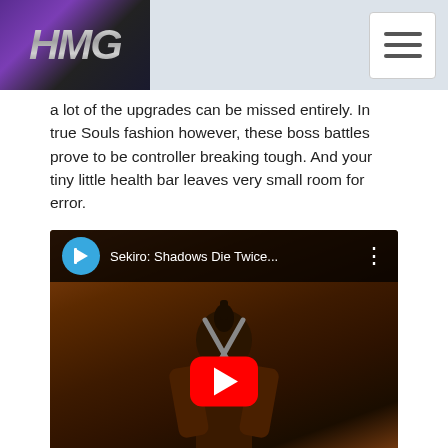HMG
a lot of the upgrades can be missed entirely. In true Souls fashion however, these boss battles prove to be controller breaking tough. And your tiny little health bar leaves very small room for error.
[Figure (screenshot): YouTube video thumbnail for Sekiro: Shadows Die Twice Tips & Tricks video, showing a warrior figure from behind with swords crossed, red YouTube play button overlay, text 'IPS & TRICKS' and 'EKIRO: SHADOWS DIE TWIC' at bottom]